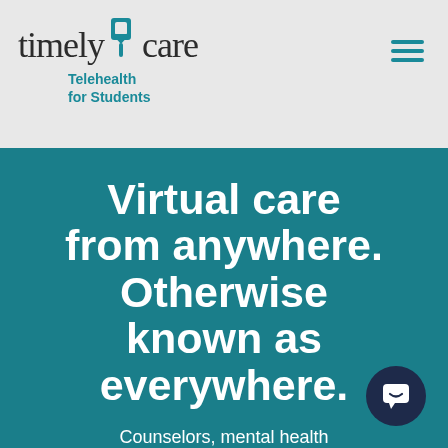[Figure (logo): TimelyCare logo with teal pin/location icon and wordmark 'timely care' with tagline 'Telehealth for Students']
[Figure (other): Hamburger menu icon (three horizontal teal lines) in top right corner]
Virtual care from anywhere. Otherwise known as everywhere.
Counselors, mental health professionals, and more. You
[Figure (other): Dark navy chat bubble icon in bottom right of hero section]